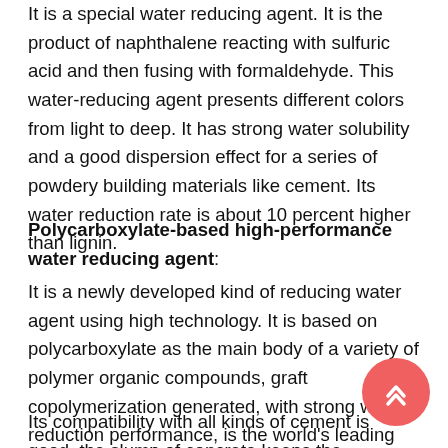It is a special water reducing agent. It is the product of naphthalene reacting with sulfuric acid and then fusing with formaldehyde. This water-reducing agent presents different colors from light to deep. It has strong water solubility and a good dispersion effect for a series of powdery building materials like cement. Its water reduction rate is about 10 percent higher than lignin.
Polycarboxylate-based high-performance water reducing agent:
It is a newly developed kind of reducing water agent using high technology. It is based on polycarboxylate as the main body of a variety of polymer organic compounds, graft copolymerization generated, with strong water reduction performance, is the world's leading technology environmental protection concrete admixture.
Its compatibility with all kinds of cement is good, the slump of concrete keeps the performance good, can prolong the